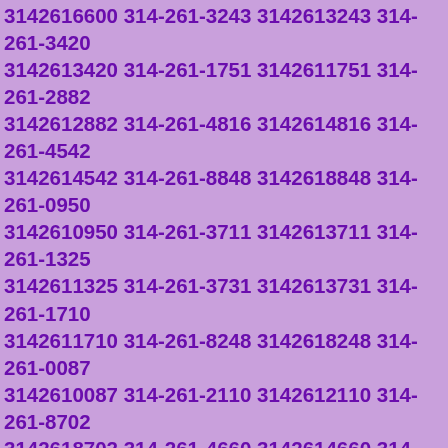3142616600 314-261-3243 3142613243 314-261-3420 3142613420 314-261-1751 3142611751 314-261-2882 3142612882 314-261-4816 3142614816 314-261-4542 3142614542 314-261-8848 3142618848 314-261-0950 3142610950 314-261-3711 3142613711 314-261-1325 3142611325 314-261-3731 3142613731 314-261-1710 3142611710 314-261-8248 3142618248 314-261-0087 3142610087 314-261-2110 3142612110 314-261-8702 3142618702 314-261-4660 3142614660 314-261-8172 3142618172 314-261-7656 3142617656 314-261-0519 3142610519 314-261-1562 3142611562 314-261-9072 3142619072 314-261-4249 3142614249 314-261-3519 3142613519 314-261-4744 3142614744 314-261-0472 3142610472 314-261-7832 3142617832 314-261-3049 3142613049 314-261-6475 3142616475 314-261-7856 3142617856 314-261-0464 3142610464 314-261-3088 3142613088 314-261-3460 3142613460 314-261-8905 3142618905 314-261-3418 3142613418 314-261-9085 3142619085 314-261-8535 3142618535 314-261-3106 3142613106 314-261-6984 3142616984 314-261-9413